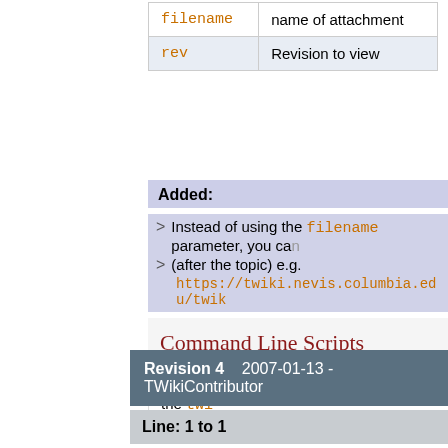|  |  |
| --- | --- |
| filename | name of attachment |
| rev | Revision to view |
Added:
Instead of using the filename parameter, you can
(after the topic) e.g.
https://twiki.nevis.columbia.edu/twik
Command Line Scripts
Details on command line scripts located in the twi
| Revision 4 | 2007-01-13 - TWikiContributor |
| --- | --- |
Line: 1 to 1